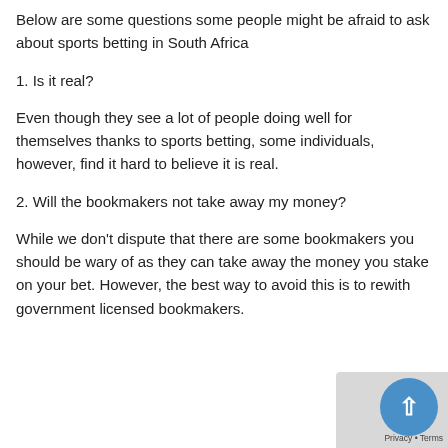Below are some questions some people might be afraid to ask about sports betting in South Africa
1. Is it real?
Even though they see a lot of people doing well for themselves thanks to sports betting, some individuals, however, find it hard to believe it is real.
2. Will the bookmakers not take away my money?
While we don't dispute that there are some bookmakers you should be wary of as they can take away the money you stake on your bet. However, the best way to avoid this is to re... with government licensed bookmakers.